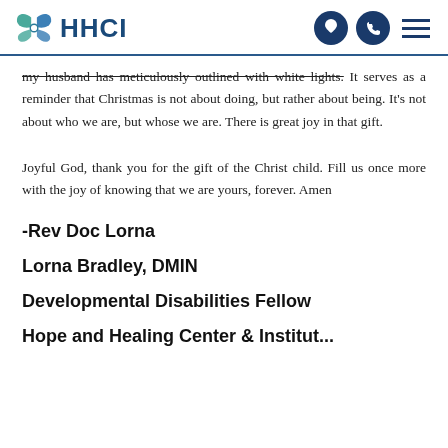HHCI
my husband has meticulously outlined with white lights. It serves as a reminder that Christmas is not about doing, but rather about being. It’s not about who we are, but whose we are. There is great joy in that gift.
Joyful God, thank you for the gift of the Christ child. Fill us once more with the joy of knowing that we are yours, forever. Amen
-Rev Doc Lorna
Lorna Bradley, DMIN
Developmental Disabilities Fellow
Hope and Healing Center & Institute